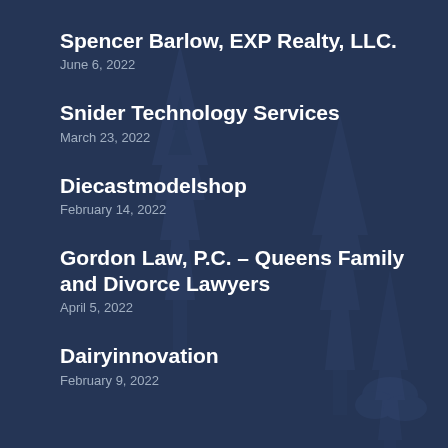Spencer Barlow, EXP Realty, LLC.
June 6, 2022
Snider Technology Services
March 23, 2022
Diecastmodelshop
February 14, 2022
Gordon Law, P.C. – Queens Family and Divorce Lawyers
April 5, 2022
Dairyinnovation
February 9, 2022